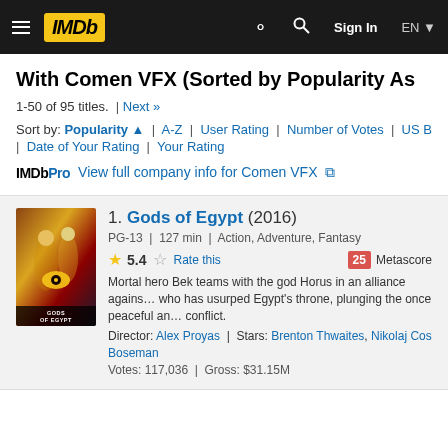IMDb — Sign In | EN
With Comen VFX (Sorted by Popularity As…
1-50 of 95 titles. | Next »
Sort by: Popularity ▲ | A-Z | User Rating | Number of Votes | US Box Off… | Date of Your Rating | Your Rating
IMDbPro View full company info for Comen VFX ↗
1. Gods of Egypt (2016)
PG-13 | 127 min | Action, Adventure, Fantasy
★ 5.4  Rate this  25 Metascore
Mortal hero Bek teams with the god Horus in an alliance agains… who has usurped Egypt's throne, plunging the once peaceful an… conflict.
Director: Alex Proyas | Stars: Brenton Thwaites, Nikolaj Coster-… Boseman
Votes: 117,036 | Gross: $31.15M